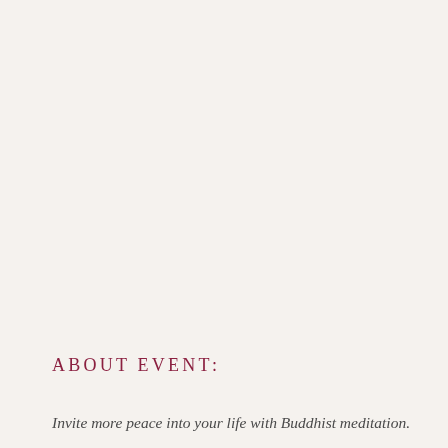ABOUT EVENT:
Invite more peace into your life with Buddhist meditation.